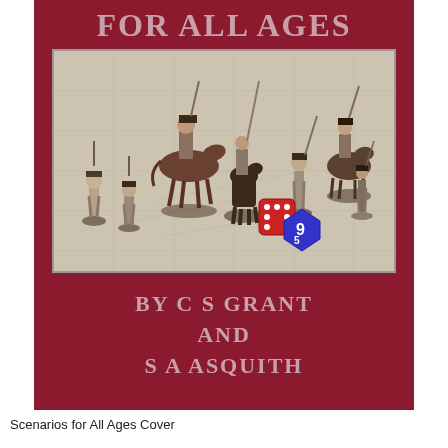[Figure (photo): Book cover of 'Scenarios for All Ages' by C S Grant and S A Asquith. Dark red/crimson background with a partial title at top (partially cropped showing 'FOR ALL AGES'). A central photograph shows historical miniature wargame figures (infantry and cavalry) arranged on a map, with gaming dice (red and blue) in the foreground. Below the photo, the authors' names are displayed: 'BY C S GRANT AND S A ASQUITH' in large serif lettering in a pinkish-red color.]
Scenarios for All Ages Cover